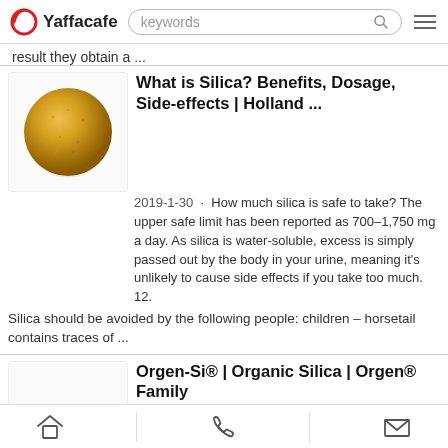Yaffacafe — keywords search bar
result they obtain a ...
What is Silica? Benefits, Dosage, Side-effects | Holland ...
2019-1-30 · How much silica is safe to take? The upper safe limit has been reported as 700–1,750 mg a day. As silica is water-soluble, excess is simply passed out by the body in your urine, meaning it's unlikely to cause side effects if you take too much. 12. Silica should be avoided by the following people: children – horsetail contains traces of ...
Orgen-Si® | Organic Silica | Orgen® Family
2020-11-30 · Orgen-Si® is 100% Certified Organic & All Natural Bamboo extract standardized for 75% Organic Silica, along with the co-factors and co-nutrients of the same Bamboo shoots.
Home | Phone | Mail